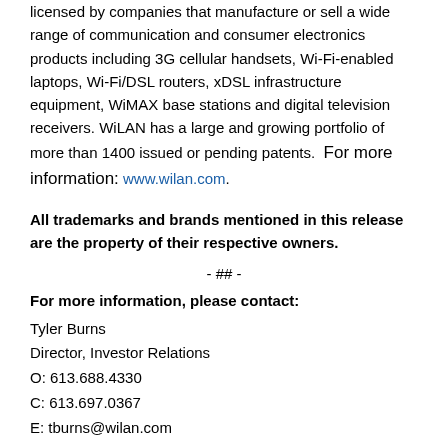licensed by companies that manufacture or sell a wide range of communication and consumer electronics products including 3G cellular handsets, Wi-Fi-enabled laptops, Wi-Fi/DSL routers, xDSL infrastructure equipment, WiMAX base stations and digital television receivers. WiLAN has a large and growing portfolio of more than 1400 issued or pending patents.  For more information: www.wilan.com.
All trademarks and brands mentioned in this release are the property of their respective owners.
- ## -
For more information, please contact:
Tyler Burns
Director, Investor Relations
O: 613.688.4330
C: 613.697.0367
E: tburns@wilan.com